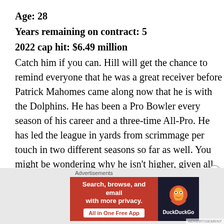Age: 28
Years remaining on contract: 5
2022 cap hit: $6.49 million
Catch him if you can. Hill will get the chance to remind everyone that he was a great receiver before Patrick Mahomes came along now that he is with the Dolphins. He has been a Pro Bowler every season of his career and a three-time All-Pro. He has led the league in yards from scrimmage per touch in two different seasons so far as well. You might be wondering why he isn't higher, given all of the accolades. He is clearly in the prime of his career, but I
Advertisements
[Figure (other): DuckDuckGo advertisement banner: 'Search, browse, and email with more privacy. All in One Free App' with DuckDuckGo logo on dark background]